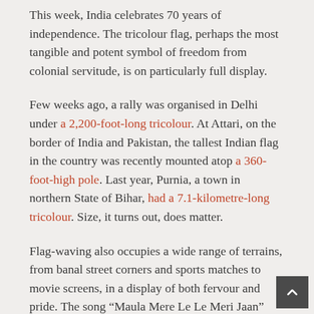This week, India celebrates 70 years of independence. The tricolour flag, perhaps the most tangible and potent symbol of freedom from colonial servitude, is on particularly full display.
Few weeks ago, a rally was organised in Delhi under a 2,200-foot-long tricolour. At Attari, on the border of India and Pakistan, the tallest Indian flag in the country was recently mounted atop a 360-foot-high pole. Last year, Purnia, a town in northern State of Bihar, had a 7.1-kilometre-long tricolour. Size, it turns out, does matter.
Flag-waving also occupies a wide range of terrains, from banal street corners and sports matches to movie screens, in a display of both fervour and pride. The song “Maula Mere Le Le Meri Jaan” from the Hindi movie Chak De India (2007) is